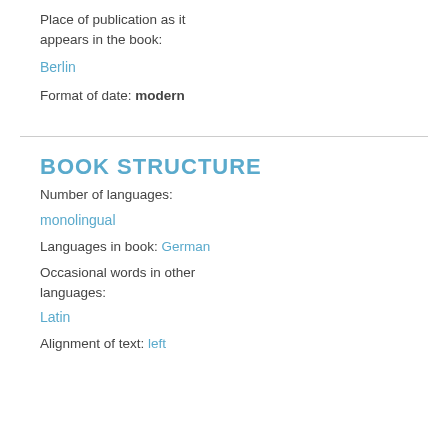Place of publication as it appears in the book:
Berlin
Format of date: modern
BOOK STRUCTURE
Number of languages:
monolingual
Languages in book: German
Occasional words in other languages:
Latin
Alignment of text: left